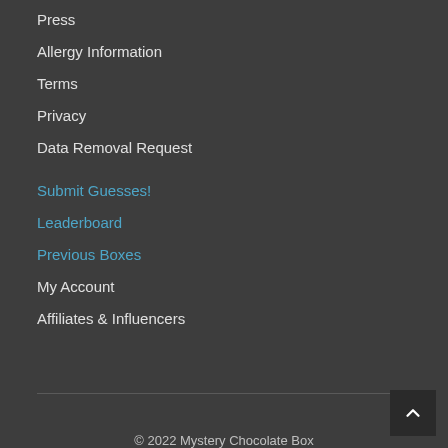Press
Allergy Information
Terms
Privacy
Data Removal Request
Submit Guesses!
Leaderboard
Previous Boxes
My Account
Affiliates & Influencers
© 2022 Mystery Chocolate Box